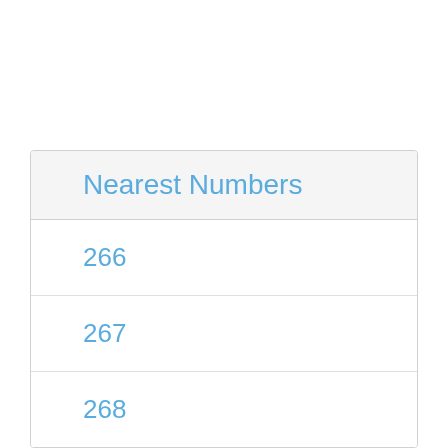| Nearest Numbers |
| --- |
| 266 |
| 267 |
| 268 |